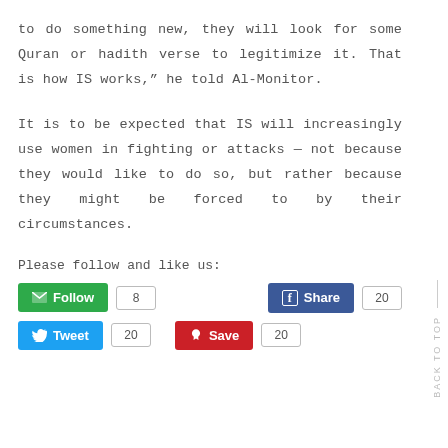to do something new, they will look for some Quran or hadith verse to legitimize it. That is how IS works,” he told Al-Monitor.
It is to be expected that IS will increasingly use women in fighting or attacks — not because they would like to do so, but rather because they might be forced to by their circumstances.
Please follow and like us:
[Figure (other): Social sharing buttons: Follow (8), Share on Facebook (20), Tweet (20), Save on Pinterest (20)]